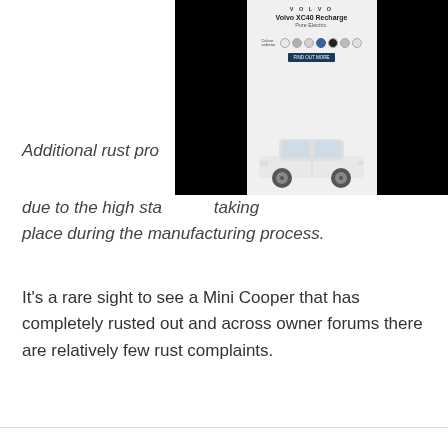[Figure (screenshot): Volvo XC40 Recharge Pure Electric advertisement screenshot with car image, color selector dots, and a dark button, placed over a black background]
Additional rust pro[tection is applied due to the high sta[ndards taking place during the manufacturing process.
It's a rare sight to see a Mini Cooper that has completely rusted out and across owner forums there are relatively few rust complaints.